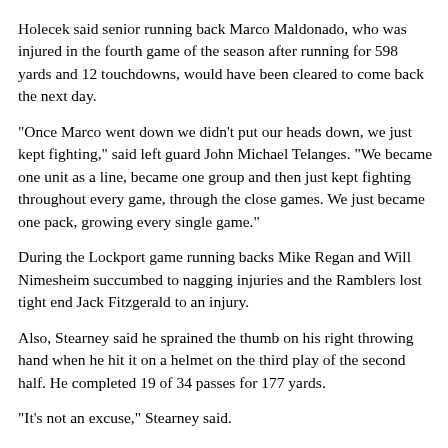Holecek said senior running back Marco Maldonado, who was injured in the fourth game of the season after running for 598 yards and 12 touchdowns, would have been cleared to come back the next day.
"Once Marco went down we didn't put our heads down, we just kept fighting," said left guard John Michael Telanges. "We became one unit as a line, became one group and then just kept fighting throughout every game, through the close games. We just became one pack, growing every single game."
During the Lockport game running backs Mike Regan and Will Nimesheim succumbed to nagging injuries and the Ramblers lost tight end Jack Fitzgerald to an injury.
Also, Stearney said he sprained the thumb on his right throwing hand when he hit it on a helmet on the third play of the second half. He completed 19 of 34 passes for 177 yards.
"It's not an excuse," Stearney said.
"When things like that happen it just feels like it's not your day," said Holecek, who called Lockport the favorite going in. Paul R...